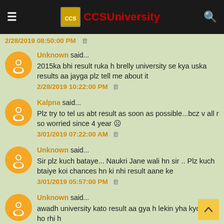CCSUniversity
2/28/2019 08:50:00 PM
Unknown said... 2015ka bhi result ruka h brelly university se kya uska results aa jayga plz tell me about it
2/28/2019 10:22:00 PM
Kalpna said... Plz try to tel us abt result as soon as possible...bcz v all r so worried since 4 year ☹
3/01/2019 07:22:00 AM
Unknown said... Sir plz kuch bataye... Naukri Jane wali hn sir .. Plz kuch btaiye koi chances hn ki nhi result aane ke
3/01/2019 05:57:00 PM
Unknown said... awadh university kato result aa gya h lekin yha kyo dery ho rhi h
3/02/2019 03:20:00 PM
Unknown said...